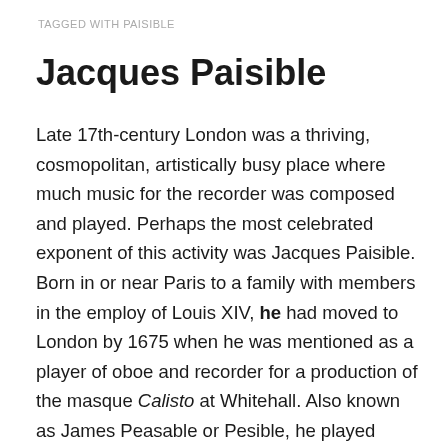TAGGED WITH PAISIBLE
Jacques Paisible
Late 17th-century London was a thriving, cosmopolitan, artistically busy place where much music for the recorder was composed and played. Perhaps the most celebrated exponent of this activity was Jacques Paisible. Born in or near Paris to a family with members in the employ of Louis XIV, he had moved to London by 1675 when he was mentioned as a player of oboe and recorder for a production of the masque Calisto at Whitehall. Also known as James Peasable or Pesible, he played ‘bass violin’ in James II’s Roman Catholic Chapel, served as court composer for Princess/Queen Anne and after her death, played bass in the Drury Lane and Haymarket Theatre bands, played recorder in public concerts and theatre